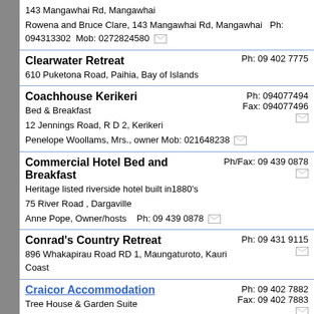143 Mangawhai Rd, Mangawhai
Rowena and Bruce Clare, 143 Mangawhai Rd, Mangawhai  Ph: 094313302  Mob: 0272824580
Clearwater Retreat  Ph: 09 402 7775
610 Puketona Road, Paihia, Bay of Islands
Coachhouse Kerikeri  Ph: 094077494  Fax: 094077496
Bed & Breakfast
12 Jennings Road, R D 2, Kerikeri
Penelope Woollams, Mrs., owner Mob: 021648238
Commercial Hotel Bed and Breakfast  Ph/Fax: 09 439 0878
Heritage listed riverside hotel built in1880's
75 River Road , Dargaville
Anne Pope, Owner/hosts  Ph: 09 439 0878
Conrad's Country Retreat  Ph: 09 431 9115
896 Whakapirau Road RD 1, Maungaturoto, Kauri Coast
Craicor Accommodation  Ph: 09 402 7882  Fax: 09 402 7883
Tree House & Garden Suite
49 Kings Road, Paihia, Bay of Islands
Anne Corbett and Garth Craig
Crisdon Castle  Ph: 09 402 6980
18 Goffe Drive, Haruru Falls, Paihia, Bay of Islands